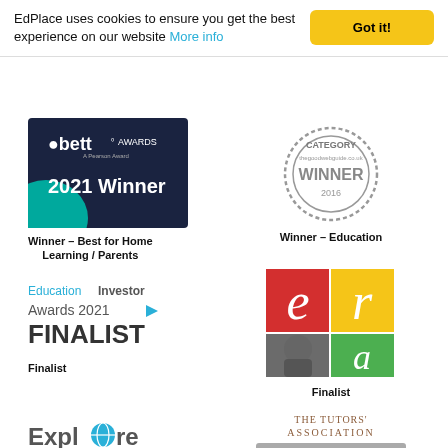EdPlace uses cookies to ensure you get the best experience on our website More info
[Figure (logo): Bett Awards 2021 Winner badge - dark blue background with bett logo and '2021 Winner' text]
Winner - Best for Home Learning / Parents
[Figure (logo): The Good Web Guide Category Winner 2016 circular stamp logo]
Winner - Education
[Figure (logo): Education Investor Awards 2021 FINALIST logo with teal arrow]
Finalist
[Figure (logo): ERA 2021 FINALIST logo with red, yellow, green quadrant squares]
Finalist
[Figure (logo): Explore Learning logo]
[Figure (logo): The Tutors' Association Affiliate Partner 2021-2022 logo]